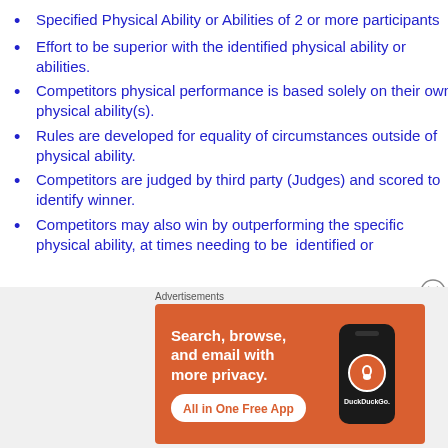Specified Physical Ability or Abilities of 2 or more participants
Effort to be superior with the identified physical ability or abilities.
Competitors physical performance is based solely on their own physical ability(s).
Rules are developed for equality of circumstances outside of physical ability.
Competitors are judged by third party (Judges) and scored to identify winner.
Competitors may also win by outperforming the specific physical ability, at times needing to be  identified or
[Figure (photo): DuckDuckGo advertisement banner: orange background with text 'Search, browse, and email with more privacy. All in One Free App' and a phone image showing DuckDuckGo logo]